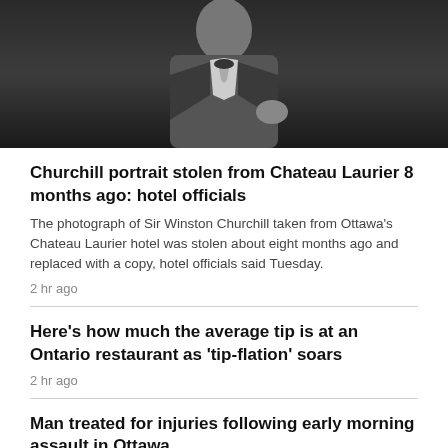[Figure (photo): Black and white photograph of a person in formal attire (appears to be Sir Winston Churchill), cropped showing upper body against a dark background.]
Churchill portrait stolen from Chateau Laurier 8 months ago: hotel officials
The photograph of Sir Winston Churchill taken from Ottawa's Chateau Laurier hotel was stolen about eight months ago and replaced with a copy, hotel officials said Tuesday.
2 hr ago
Here's how much the average tip is at an Ontario restaurant as 'tip-flation' soars
2 hr ago
Man treated for injuries following early morning assault in Ottawa
6 hr ago